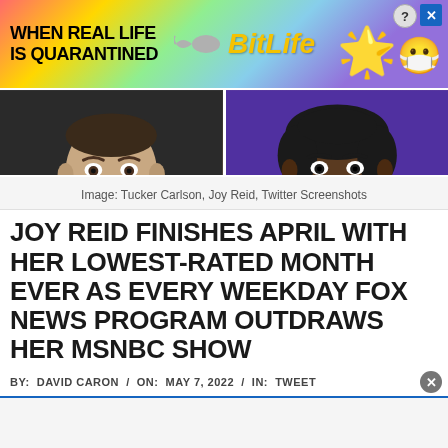[Figure (screenshot): Advertisement banner for BitLife app with rainbow gradient background, text 'WHEN REAL LIFE IS QUARANTINED', BitLife logo, star emoji face character with face mask, close and help buttons]
[Figure (photo): Side-by-side screenshots of Tucker Carlson (left, white male, dark background) and Joy Reid (right, Black female, colorful background) from TV broadcasts]
Image: Tucker Carlson, Joy Reid, Twitter Screenshots
JOY REID FINISHES APRIL WITH HER LOWEST-RATED MONTH EVER AS EVERY WEEKDAY FOX NEWS PROGRAM OUTDRAWS HER MSNBC SHOW
BY:  DAVID CARON  /  ON:  MAY 7, 2022  /  IN:  TWEET